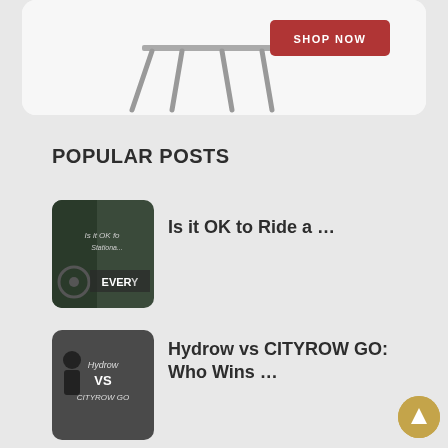[Figure (photo): Advertisement banner with furniture (chair/table legs) and a red SHOP NOW button on white background]
POPULAR POSTS
[Figure (photo): Thumbnail for 'Is it OK to Ride a ...' post showing cycling/stationary bike graphic with text EVERY]
Is it OK to Ride a …
[Figure (photo): Thumbnail for 'Hydrow vs CITYROW GO' post showing dark background with text Hydrow VS CITYROW GO]
Hydrow vs CITYROW GO: Who Wins …
[Figure (photo): Thumbnail for 'Hydrow Review' post showing person on rowing machine]
Hydrow Review: Is Their Rower Worth …